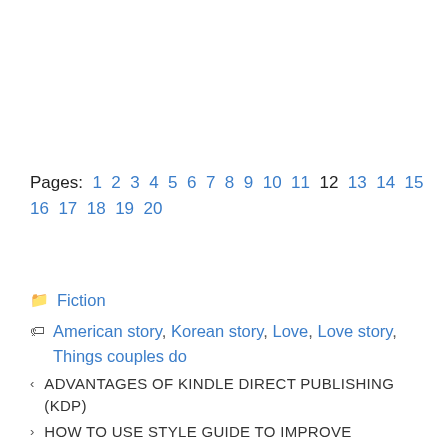Pages: 1 2 3 4 5 6 7 8 9 10 11 12 13 14 15 16 17 18 19 20
Fiction
American story, Korean story, Love, Love story, Things couples do
< ADVANTAGES OF KINDLE DIRECT PUBLISHING (KDP)
> HOW TO USE STYLE GUIDE TO IMPROVE